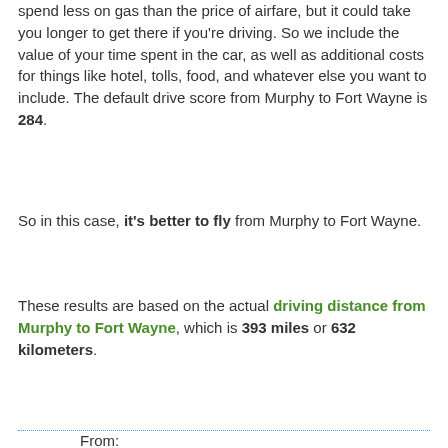spend less on gas than the price of airfare, but it could take you longer to get there if you're driving. So we include the value of your time spent in the car, as well as additional costs for things like hotel, tolls, food, and whatever else you want to include. The default drive score from Murphy to Fort Wayne is 284.
So in this case, it's better to fly from Murphy to Fort Wayne.
These results are based on the actual driving distance from Murphy to Fort Wayne, which is 393 miles or 632 kilometers.